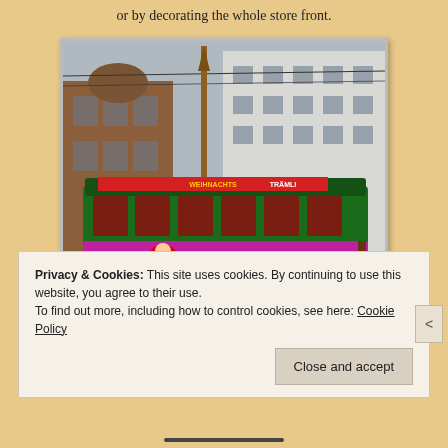or by decorating the whole store front.
[Figure (photo): A green Christmas tram (Weihnachtsträmli) decorated with festive lights and Santa Claus imagery, with a banner reading 'WEIHNACHTSTRÄMLI', in a city street with old and modern buildings in the background.]
Privacy & Cookies: This site uses cookies. By continuing to use this website, you agree to their use.
To find out more, including how to control cookies, see here: Cookie Policy
Close and accept